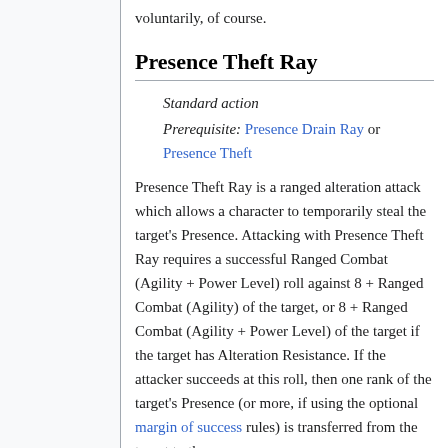voluntarily, of course.
Presence Theft Ray
Standard action
Prerequisite: Presence Drain Ray or Presence Theft
Presence Theft Ray is a ranged alteration attack which allows a character to temporarily steal the target's Presence. Attacking with Presence Theft Ray requires a successful Ranged Combat (Agility + Power Level) roll against 8 + Ranged Combat (Agility) of the target, or 8 + Ranged Combat (Agility + Power Level) of the target if the target has Alteration Resistance. If the attacker succeeds at this roll, then one rank of the target's Presence (or more, if using the optional margin of success rules) is transferred from the target to the